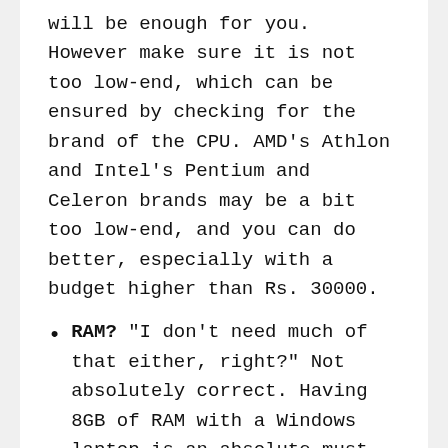will be enough for you. However make sure it is not too low-end, which can be ensured by checking for the brand of the CPU. AMD's Athlon and Intel's Pentium and Celeron brands may be a bit too low-end, and you can do better, especially with a budget higher than Rs. 30000.
RAM? "I don't need much of that either, right?" Not absolutely correct. Having 8GB of RAM with a Windows laptop is an absolute must, even if you don't want to use it often. More is better, and most laptops these days will have 8GB RAM out of the box. If your budget doesn't allow for such a laptop, consider other options listed further
You probably would like a tablet more: If you are sure that you have absolutely no use for a PC other than for reading textbooks, checking presentations, and to watch videos, you may do